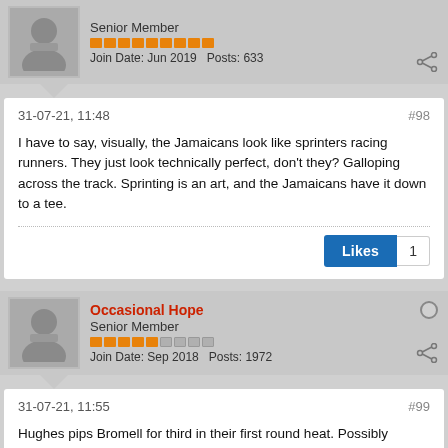Senior Member
Join Date: Jun 2019   Posts: 633
31-07-21, 11:48
#98
I have to say, visually, the Jamaicans look like sprinters racing runners. They just look technically perfect, don't they? Galloping across the track. Sprinting is an art, and the Jamaicans have it down to a tee.
Likes 1
Occasional Hope
Senior Member
Join Date: Sep 2018   Posts: 1972
31-07-21, 11:55
#99
Hughes pips Bromell for third in their first round heat. Possibly neither expected this to be a fast heat?
1 comment